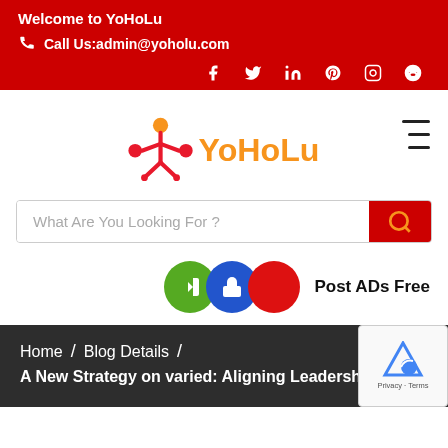Welcome to YoHoLu
Call Us:admin@yoholu.com
[Figure (screenshot): Social media icons row: Facebook, Twitter, LinkedIn, Pinterest, Instagram, Reddit]
[Figure (logo): YoHoLu logo with orange and red icon and orange YoHoLu text]
What Are You Looking For ?
Post ADs Free
Home / Blog Details / A New Strategy on varied: Aligning Leadership and